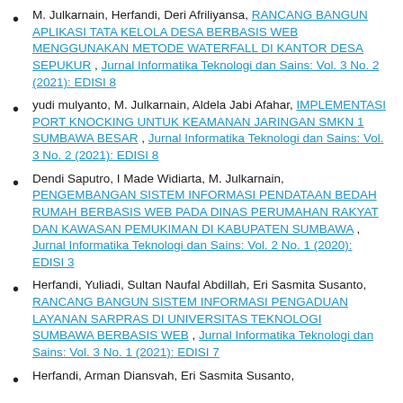M. Julkarnain, Herfandi, Deri Afriliyansa, RANCANG BANGUN APLIKASI TATA KELOLA DESA BERBASIS WEB MENGGUNAKAN METODE WATERFALL DI KANTOR DESA SEPUKUR , Jurnal Informatika Teknologi dan Sains: Vol. 3 No. 2 (2021): EDISI 8
yudi mulyanto, M. Julkarnain, Aldela Jabi Afahar, IMPLEMENTASI PORT KNOCKING UNTUK KEAMANAN JARINGAN SMKN 1 SUMBAWA BESAR , Jurnal Informatika Teknologi dan Sains: Vol. 3 No. 2 (2021): EDISI 8
Dendi Saputro, I Made Widiarta, M. Julkarnain, PENGEMBANGAN SISTEM INFORMASI PENDATAAN BEDAH RUMAH BERBASIS WEB PADA DINAS PERUMAHAN RAKYAT DAN KAWASAN PEMUKIMAN DI KABUPATEN SUMBAWA , Jurnal Informatika Teknologi dan Sains: Vol. 2 No. 1 (2020): EDISI 3
Herfandi, Yuliadi, Sultan Naufal Abdillah, Eri Sasmita Susanto, RANCANG BANGUN SISTEM INFORMASI PENGADUAN LAYANAN SARPRAS DI UNIVERSITAS TEKNOLOGI SUMBAWA BERBASIS WEB , Jurnal Informatika Teknologi dan Sains: Vol. 3 No. 1 (2021): EDISI 7
Herfandi, Arman Diansvah, Eri Sasmita Susanto,